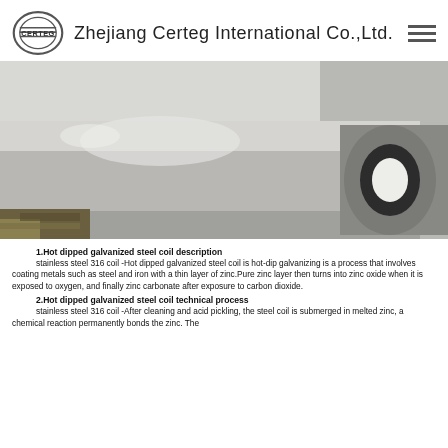Zhejiang Certeg International Co.,Ltd.
[Figure (photo): Large roll of galvanized steel coil shown from the side in a warehouse setting; the coil surface shows a matte silver-grey finish and the inner bore is visible on the right side.]
1.Hot dipped galvanized steel coil description
stainless steel 316 coil -Hot dipped galvanized steel coil is hot-dip galvanizing is a process that involves coating metals such as steel and iron with a thin layer of zinc.Pure zinc layer then turns into zinc oxide when it is exposed to oxygen, and finally zinc carbonate after exposure to carbon dioxide.
2.Hot dipped galvanized steel coil technical process
stainless steel 316 coil -After cleaning and acid pickling, the steel coil is submerged in melted zinc, a chemical reaction permanently bonds the zinc. The